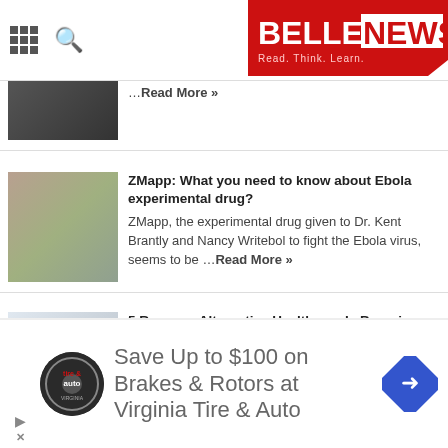BELLENEWS – Read. Think. Learn.
…Read More »
ZMapp: What you need to know about Ebola experimental drug?
ZMapp, the experimental drug given to Dr. Kent Brantly and Nancy Writebol to fight the Ebola virus, seems to be …Read More »
5 Reasons Alternative Healthcare Is Booming
In an age where we have more access to healthcare and scientific literature than ever before, there is a curious …Read More »
Save Up to $100 on Brakes & Rotors at Virginia Tire & Auto